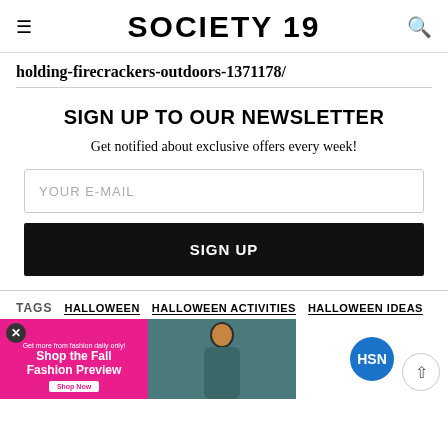SOCIETY 19
holding-firecrackers-outdoors-1371178/
SIGN UP TO OUR NEWSLETTER
Get notified about exclusive offers every week!
YOUR E-MAIL
SIGN UP
TAGS   HALLOWEEN   HALLOWEEN ACTIVITIES   HALLOWEEN IDEAS
[Figure (screenshot): Advertisement bar with pink Shop the Fall Fashion Preview ad, model photo, and HSN badge]